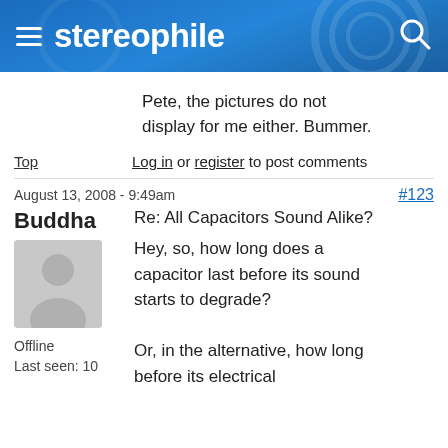stereophile
Pete, the pictures do not display for me either. Bummer.
Top   Log in or register to post comments
August 13, 2008 - 9:49am
#123
Buddha
Re: All Capacitors Sound Alike?
[Figure (illustration): Default user avatar silhouette in gray]
Hey, so, how long does a capacitor last before its sound starts to degrade?
Offline
Last seen: 10
Or, in the alternative, how long before its electrical